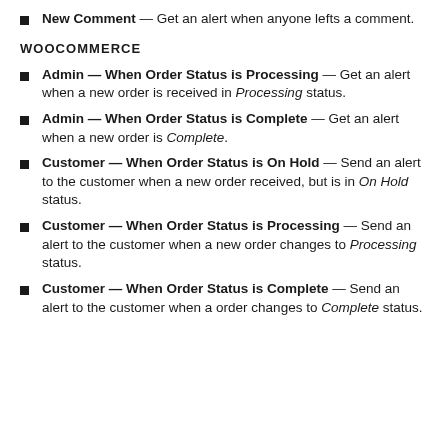New Comment — Get an alert when anyone lefts a comment.
WOOCOMMERCE
Admin — When Order Status is Processing — Get an alert when a new order is received in Processing status.
Admin — When Order Status is Complete — Get an alert when a new order is Complete.
Customer — When Order Status is On Hold — Send an alert to the customer when a new order received, but is in On Hold status.
Customer — When Order Status is Processing — Send an alert to the customer when a new order changes to Processing status.
Customer — When Order Status is Complete — Send an alert to the customer when a order changes to Complete status.